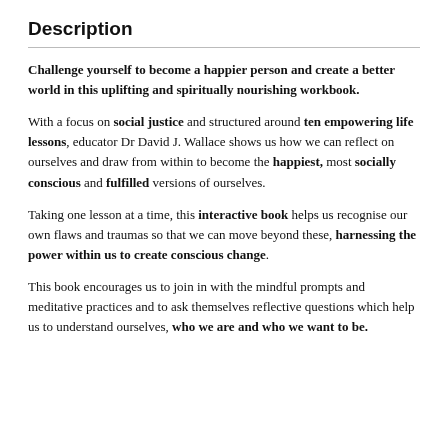Description
Challenge yourself to become a happier person and create a better world in this uplifting and spiritually nourishing workbook.
With a focus on social justice and structured around ten empowering life lessons, educator Dr David J. Wallace shows us how we can reflect on ourselves and draw from within to become the happiest, most socially conscious and fulfilled versions of ourselves.
Taking one lesson at a time, this interactive book helps us recognise our own flaws and traumas so that we can move beyond these, harnessing the power within us to create conscious change.
This book encourages us to join in with the mindful prompts and meditative practices and to ask themselves reflective questions which help us to understand ourselves, who we are and who we want to be.